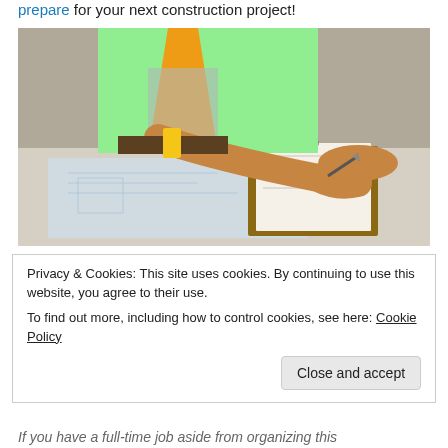prepare for your next construction project!
[Figure (photo): A construction worker wearing a green safety vest and orange hi-vis straps, writing on a clipboard with blueprints on a work surface. Shot from chest level, showing hands and upper body.]
Privacy & Cookies: This site uses cookies. By continuing to use this website, you agree to their use.
To find out more, including how to control cookies, see here: Cookie Policy
If you have a full-time job aside from organizing this